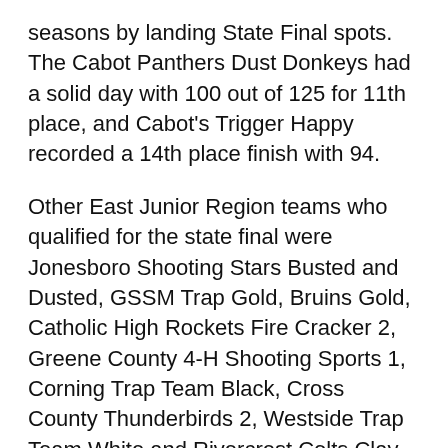seasons by landing State Final spots. The Cabot Panthers Dust Donkeys had a solid day with 100 out of 125 for 11th place, and Cabot's Trigger Happy recorded a 14th place finish with 94.
Other East Junior Region teams who qualified for the state final were Jonesboro Shooting Stars Busted and Dusted, GSSM Trap Gold, Bruins Gold, Catholic High Rockets Fire Cracker 2, Greene County 4-H Shooting Sports 1, Corning Trap Team Black, Cross County Thunderbirds 2, Westside Trap Team White and Rivercrest Colts Clay Busters.
Two more regionals are yet to be decided: The North juniors and seniors are up this Friday and Saturday, May 10-11, and the West Region has the fields on May 17-18. Regional action starts each day at 8:30 a.m., and there is no admission charge. Food and retail vendors are onsite, and participants and families can enjoy